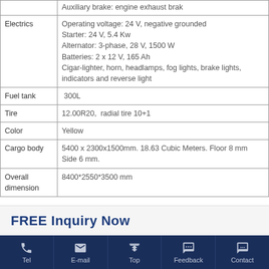|  |  |
| --- | --- |
|  | Auxiliary brake: engine exhaust brak |
| Electrics | Operating voltage: 24 V, negative grounded
Starter: 24 V, 5.4 Kw
Alternator: 3-phase, 28 V, 1500 W
Batteries: 2 x 12 V, 165 Ah
Cigar-lighter, horn, headlamps, fog lights, brake lights, indicators and reverse light |
| Fuel tank | 300L |
| Tire | 12.00R20,  radial tire 10+1 |
| Color | Yellow |
| Cargo body | 5400 x 2300x1500mm. 18.63 Cubic Meters. Floor 8 mm Side 6 mm. |
| Overall dimension | 8400*2550*3500 mm |
FREE Inquiry Now
Tel  E-mail  Top  Feedback  Contact